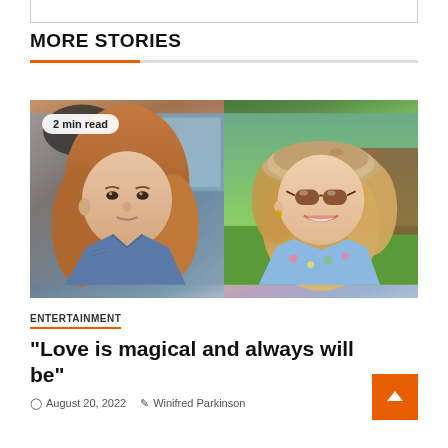MORE STORIES
[Figure (photo): Two side-by-side photos of young women. Left: a girl with reddish-brown hair taking a selfie in a car wearing a denim jacket. Right: a smiling blonde girl wearing a beige beret and sunglasses, dressed in a blue floral top outdoors.]
2 min read
ENTERTAINMENT
“Love is magical and always will be”
August 20, 2022  Winifred Parkinson